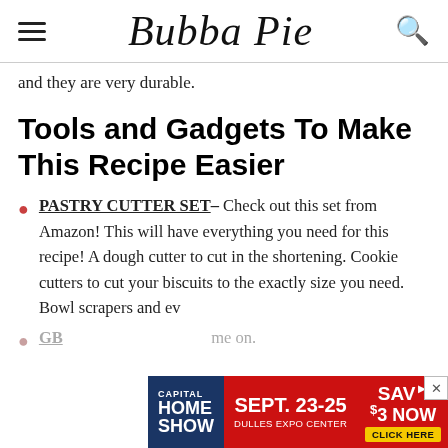Bubba Pie
and they are very durable.
Tools and Gadgets To Make This Recipe Easier
PASTRY CUTTER SET– Check out this set from Amazon! This will have everything you need for this recipe! A dough cutter to cut in the shortening. Cookie cutters to cut your biscuits to the exactly size you need. Bowl scrapers and ev...
GB... me on.
[Figure (screenshot): Capital Home Show advertisement banner: SEPT. 23-25, DULLES EXPO CENTER, SAVE $3 NOW, CLICK HERE]